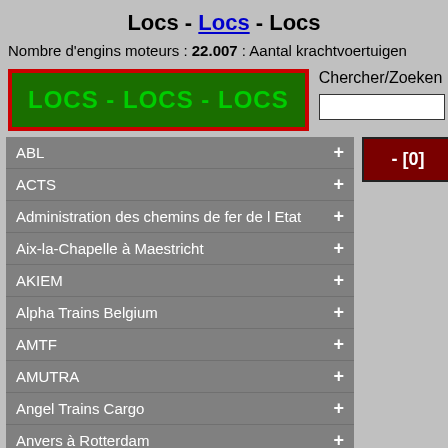Locs - Locs - Locs
Nombre d'engins moteurs : 22.007 : Aantal krachtvoertuigen
[Figure (screenshot): Green banner with red border reading LOCS - LOCS - LOCS]
Chercher/Zoeken
ABL +
ACTS +
Administration des chemins de fer de l Etat +
Aix-la-Chapelle à Maestricht +
AKIEM +
Alpha Trains Belgium +
AMTF +
AMUTRA +
Angel Trains Cargo +
Anvers à Rotterdam +